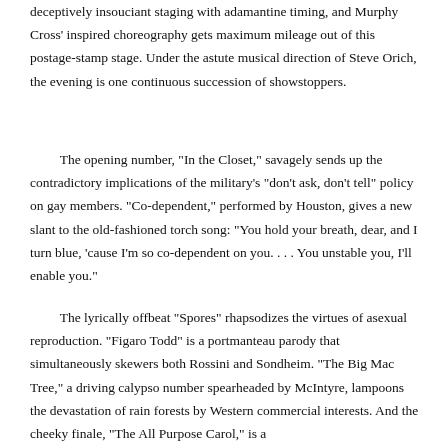deceptively insouciant staging with adamantine timing, and Murphy Cross' inspired choreography gets maximum mileage out of this postage-stamp stage. Under the astute musical direction of Steve Orich, the evening is one continuous succession of showstoppers.
The opening number, "In the Closet," savagely sends up the contradictory implications of the military's "don't ask, don't tell" policy on gay members. "Co-dependent," performed by Houston, gives a new slant to the old-fashioned torch song: "You hold your breath, dear, and I turn blue, 'cause I'm so co-dependent on you. . . . You unstable you, I'll enable you."
The lyrically offbeat "Spores" rhapsodizes the virtues of asexual reproduction. "Figaro Todd" is a portmanteau parody that simultaneously skewers both Rossini and Sondheim. "The Big Mac Tree," a driving calypso number spearheaded by McIntyre, lampoons the devastation of rain forests by Western commercial interests. And the cheeky finale, "The All Purpose Carol," is a